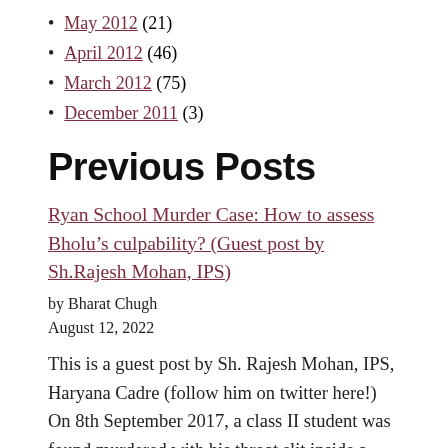May 2012 (21)
April 2012 (46)
March 2012 (75)
December 2011 (3)
Previous Posts
Ryan School Murder Case: How to assess Bholu’s culpability? (Guest post by Sh.Rajesh Mohan, IPS)
by Bharat Chugh
August 12, 2022
This is a guest post by Sh. Rajesh Mohan, IPS, Haryana Cadre (follow him on twitter here!) On 8th September 2017, a class II student was found murdered with his throat slit inside a washroom of